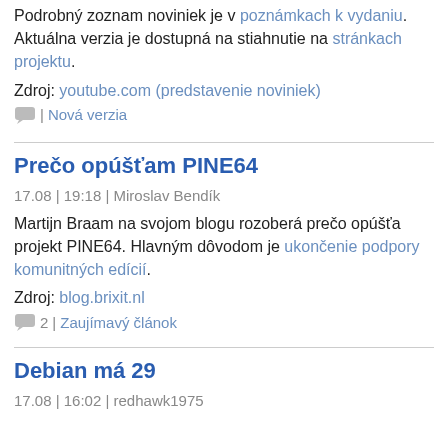Podrobný zoznam noviniek je v poznámkach k vydaniu. Aktuálna verzia je dostupná na stiahnutie na stránkach projektu.
Zdroj: youtube.com (predstavenie noviniek)
💬 | Nová verzia
Prečo opúšťam PINE64
17.08 | 19:18 | Miroslav Bendík
Martijn Braam na svojom blogu rozoberá prečo opúšťa projekt PINE64. Hlavným dôvodom je ukončenie podpory komunitných edícií.
Zdroj: blog.brixit.nl
💬 2 | Zaujímavý článok
Debian má 29
17.08 | 16:02 | redhawk1975